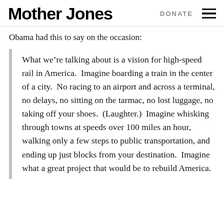Mother Jones | DONATE
Obama had this to say on the occasion:
What we’re talking about is a vision for high-speed rail in America.  Imagine boarding a train in the center of a city.  No racing to an airport and across a terminal, no delays, no sitting on the tarmac, no lost luggage, no taking off your shoes.  (Laughter.)  Imagine whisking through towns at speeds over 100 miles an hour, walking only a few steps to public transportation, and ending up just blocks from your destination.  Imagine what a great project that would be to rebuild America.